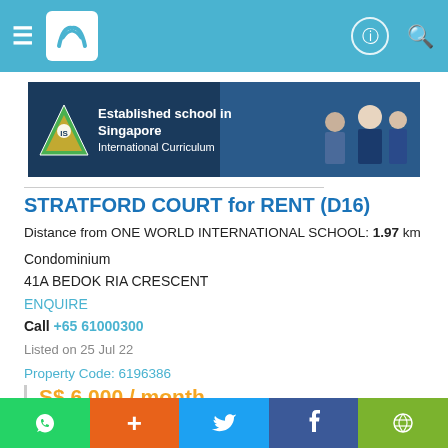Navigation bar with hamburger menu, logo, info icon, search icon
[Figure (photo): Advertisement banner for an established school in Singapore with international curriculum, showing school logo (triangle with figure) on dark navy background and photo of people on right]
STRATFORD COURT for RENT (D16)
Distance from ONE WORLD INTERNATIONAL SCHOOL: 1.97 km
Condominium
41A BEDOK RIA CRESCENT
ENQUIRE
Call +65 61000300
Listed on 25 Jul 22
Property Code: 6196386
S$ 6,000 / month
(Negotiable)
S$ 3.79 psf (built-in)
1,582 sqft / 146.97 sqm (built-in)
4
WhatsApp | + | Twitter | Facebook | WeChat